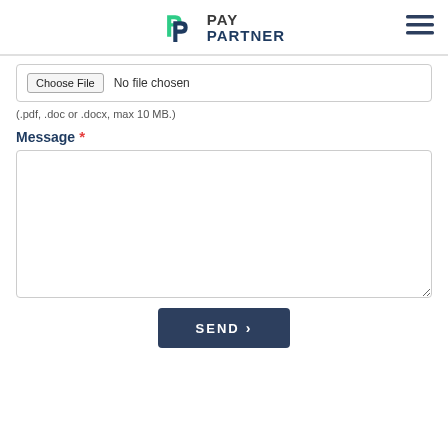[Figure (logo): PayPartner logo with green 'PP' icon and dark blue PAY PARTNER text, with hamburger menu icon on the right]
Choose File  No file chosen
(.pdf, .doc or .docx, max 10 MB.)
Message *
[Figure (other): Empty message text area input box]
SEND >